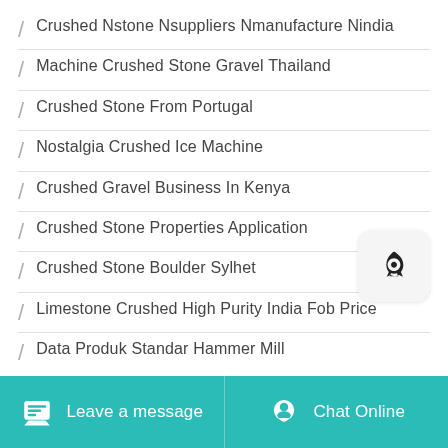Crushed Nstone Nsuppliers Nmanufacture Nindia
Machine Crushed Stone Gravel Thailand
Crushed Stone From Portugal
Nostalgia Crushed Ice Machine
Crushed Gravel Business In Kenya
Crushed Stone Properties Application
Crushed Stone Boulder Sylhet
Limestone Crushed High Purity India Fob Price
Data Produk Standar Hammer Mill
Leave a message  Chat Online